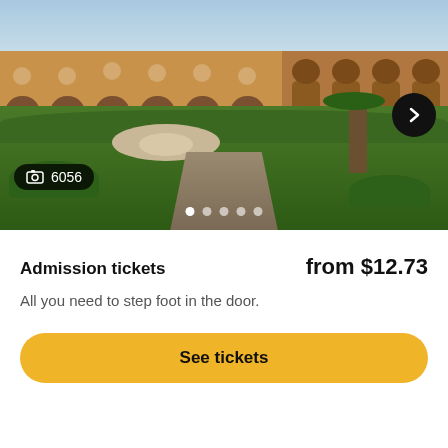[Figure (photo): Exterior view of a historic yellow/beige building with arched windows and a courtyard fountain, surrounded by manicured hedges and palm trees. Appears to be an Italian palace or cathedral complex.]
6056
Admission tickets
from $12.73
All you need to step foot in the door.
See tickets